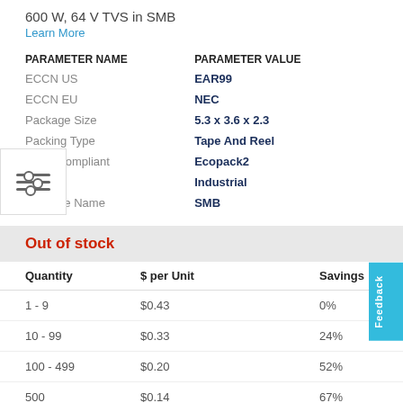600 W, 64 V TVS in SMB
Learn More
| PARAMETER NAME | PARAMETER VALUE |
| --- | --- |
| ECCN US | EAR99 |
| ECCN EU | NEC |
| Package Size | 5.3 x 3.6 x 2.3 |
| Packing Type | Tape And Reel |
| RoHS compliant | Ecopack2 |
| Grade | Industrial |
| Package Name | SMB |
Out of stock
| Quantity | $ per Unit | Savings |
| --- | --- | --- |
| 1 - 9 | $0.43 | 0% |
| 10 - 99 | $0.33 | 24% |
| 100 - 499 | $0.20 | 52% |
| 500 | $0.14 | 67% |
| 500 + | Contact Sales → |  |